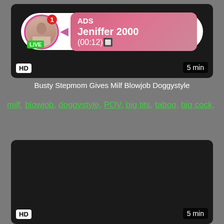[Figure (screenshot): Video thumbnail 1 - dark/black video player with LIVE ad overlay showing avatar with pink circle, LIVE badge, ADS label, Jeniffer 2000 name, (00:12) timer, HD badge bottom-left, 5 min duration bottom-right]
Busty Stepmom Gives Milf Blowjob Doggystyle
milf, blowjob, doggystyle, POV, big tits, taboo, big cock, b...
[Figure (screenshot): Video thumbnail 2 - dark/black video player with HD badge bottom-left and 5 min duration bottom-right]